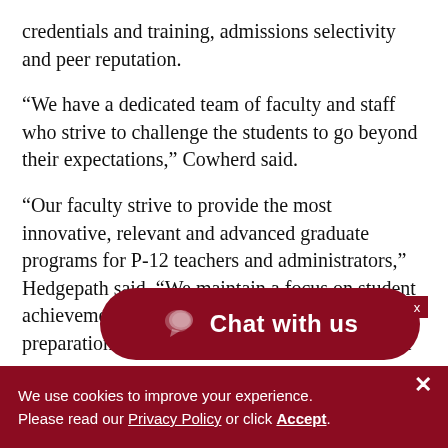credentials and training, admissions selectivity and peer reputation.
“We have a dedicated team of faculty and staff who strive to challenge the students to go beyond their expectations,” Cowherd said.
“Our faculty strive to provide the most innovative, relevant and advanced graduate programs for P-12 teachers and administrators,” Hedgepath said. “We maintain a focus on student achievement based on best practice in educator preparation.Our goal is continuous improvement
“CU online programs are h…
[Figure (other): Chat with us button overlay in dark red/maroon rounded pill shape with chat bubble icon]
We use cookies to improve your experience. Please read our Privacy Policy or click Accept.